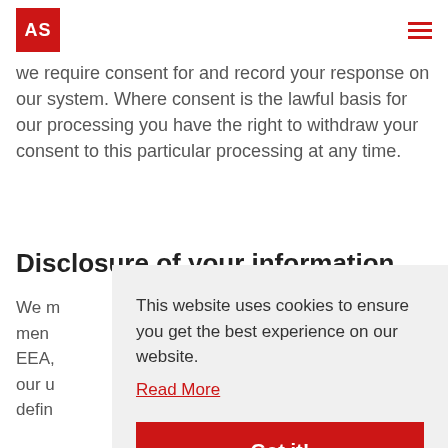AS
we require consent for and record your response on our system. Where consent is the lawful basis for our processing you have the right to withdraw your consent to this particular processing at any time.
Disclosure of your information
We m... men... EEA,... our u... defin...
We r... parties.
This website uses cookies to ensure you get the best experience on our website. Read More Got it!